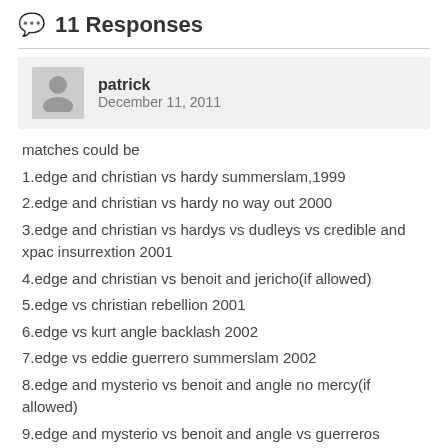11 Responses
patrick
December 11, 2011
matches could be
1.edge and christian vs hardy summerslam,1999
2.edge and christian vs hardy no way out 2000
3.edge and christian vs hardys vs dudleys vs credible and xpac insurrextion 2001
4.edge and christian vs benoit and jericho(if allowed)
5.edge vs christian rebellion 2001
6.edge vs kurt angle backlash 2002
7.edge vs eddie guerrero summerslam 2002
8.edge and mysterio vs benoit and angle no mercy(if allowed)
9.edge and mysterio vs benoit and angle vs guerreros survivor series 2002
10.edge vs hbk royal rumble 2005
11.edge and orton vs dx new years revolution 2007
12.edge vs taker backlash 2008